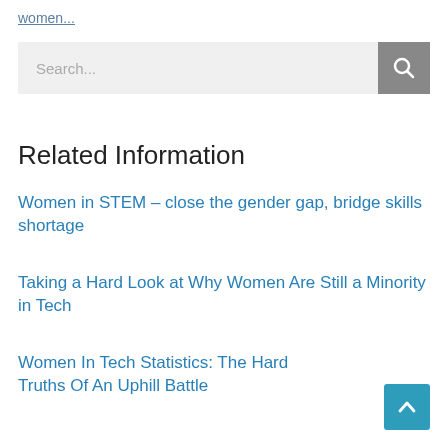women...
Search...
Related Information
Women in STEM – close the gender gap, bridge skills shortage
Taking a Hard Look at Why Women Are Still a Minority in Tech
Women In Tech Statistics: The Hard Truths Of An Uphill Battle